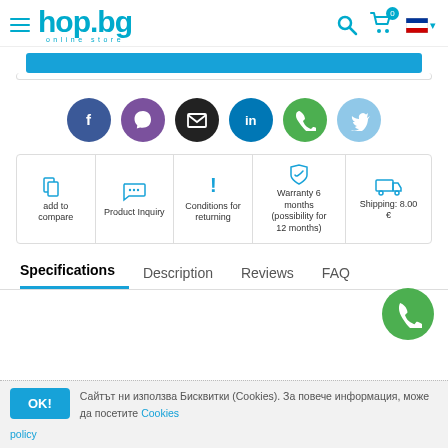[Figure (logo): hop.bg online store logo with hamburger menu icon]
[Figure (illustration): Social sharing icons row: Facebook, Viber, Email, LinkedIn, Phone, Twitter]
[Figure (infographic): Info bar with 5 cells: add to compare, Product Inquiry, Conditions for returning, Warranty 6 months (possibility for 12 months), Shipping: 8.00 €]
Specifications  Description  Reviews  FAQ
Сайтът ни използва Бисквитки (Cookies). За повече информация, може да посетите Cookies policy